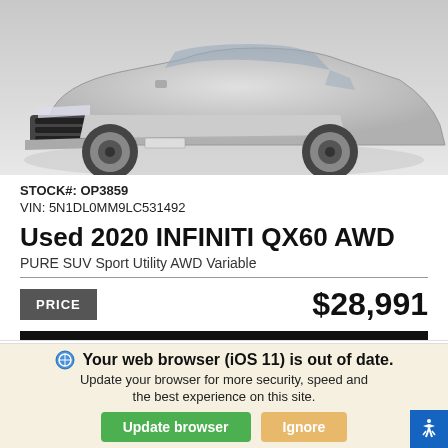[Figure (photo): Front view of a silver 2020 INFINITI QX60 AWD SUV against a white/light background]
STOCK#: OP3859
VIN: 5N1DL0MM9LC531492
Used 2020 INFINITI QX60 AWD
PURE SUV Sport Utility AWD Variable
PRICE   $28,991
Explore Payments
From Real Time Lenders
We use cookies to optimize our website and our service.
Cookie Policy   Privacy Statement
Your web browser (iOS 11) is out of date.
Update your browser for more security, speed and the best experience on this site.